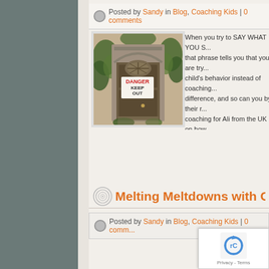Posted by Sandy in Blog, Coaching Kids | 0 comments
[Figure (photo): Dilapidated doorway with ivy and a 'DANGER KEEP OUT' sign painted in red]
When you try to SAY WHAT YOU S... that phrase tells you that you are try... child's behavior instead of coaching... difference, and so can you by their r... coaching for Ali from the UK on how... situation for her 5 YO into fun. Her b... over whether she wanted her to or...
Melting Meltdowns with Conn...
Posted by Sandy in Blog, Coaching Kids | 0 comm...